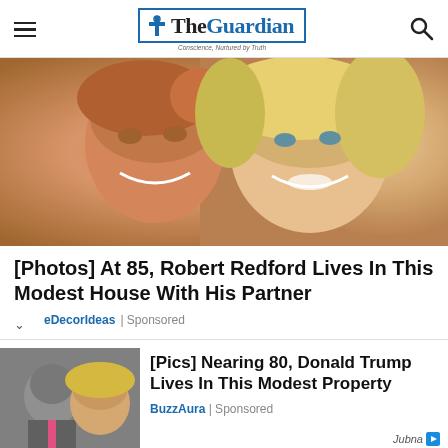The Guardian
[Figure (photo): Close-up photo of two smiling people, a man with reddish-brown hair and a woman with blonde hair, posing together]
[Photos] At 85, Robert Redford Lives In This Modest House With His Partner
eDecorIdeas | Sponsored
[Figure (photo): Thumbnail photo of a man in a suit and a woman with blonde hair]
[Pics] Nearing 80, Donald Trump Lives In This Modest Property
BuzzAura | Sponsored
Jubna